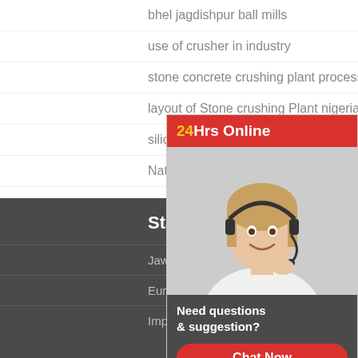bhel jagdishpur ball mills
use of crusher in industry
stone concrete crushing plant process
layout of Stone crushing Plant nigeria
silica sand making machine for sale
Nathan Williams crushing The Microstakes
portable small jaw crushers machine for sale
portable jaw crusher s photos
wheat grinder machine in malaysia
[Figure (photo): Customer support representative with headset, smiling, with 24Hrs Online header and Chat Now button widget]
Stationary Crushers
Jaw Crusher
European Type Jaw Crusher
Impact Crusher